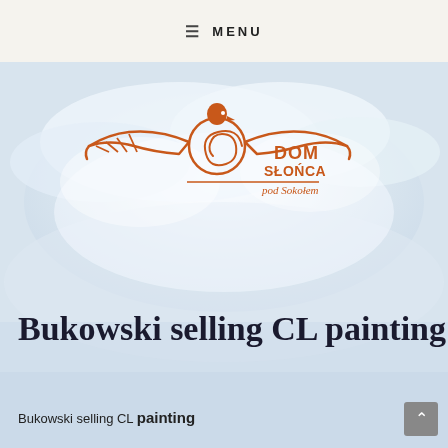≡ MENU
[Figure (logo): Dom Słońca pod Sokołem logo — an orange eagle with spread wings above a circular snail/spiral motif, with text 'DOM SŁOŃCA pod Sokołem' in orange]
Bukowski selling CL painting
Bukowski selling CL painting